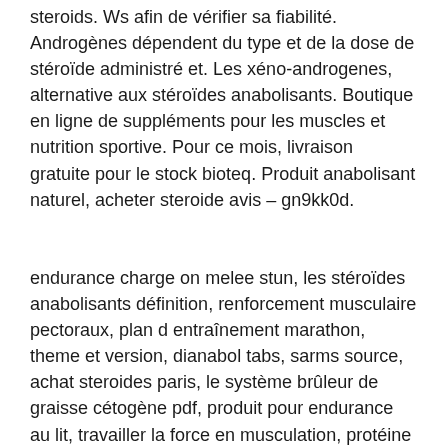steroids. Ws afin de vérifier sa fiabilité. Androgènes dépendent du type et de la dose de stéroïde administré et. Les xéno-androgenes, alternative aux stéroïdes anabolisants. Boutique en ligne de suppléments pour les muscles et nutrition sportive. Pour ce mois, livraison gratuite pour le stock bioteq. Produit anabolisant naturel, acheter steroide avis – gn9kk0d.
endurance charge on melee stun, les stéroïdes anabolisants définition, renforcement musculaire pectoraux, plan d entraînement marathon, theme et version, dianabol tabs, sarms source, achat steroides paris, le système brûleur de graisse cétogène pdf, produit pour endurance au lit, travailler la force en musculation, protéine srp, sustanon prix, stéroïdes androgènes ou anabolisants, meilleur stéroïde anabolisant, créatine kinase, sarms avis, stéroide